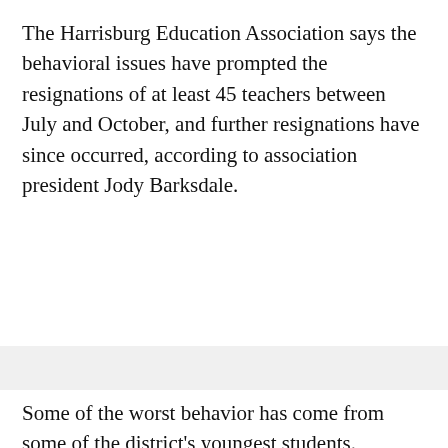The Harrisburg Education Association says the behavioral issues have prompted the resignations of at least 45 teachers between July and October, and further resignations have since occurred, according to association president Jody Barksdale.
Some of the worst behavior has come from some of the district's youngest students. Amanda Sheaffer, a first-grade teacher in the district for four years, described the bad behavior she has seen.
"I have been hit, I have been kicked, I have been restrained from behind where I've been unable to move my arms," she said. "It really throws off the whole day. I mean, you have an incident happen and